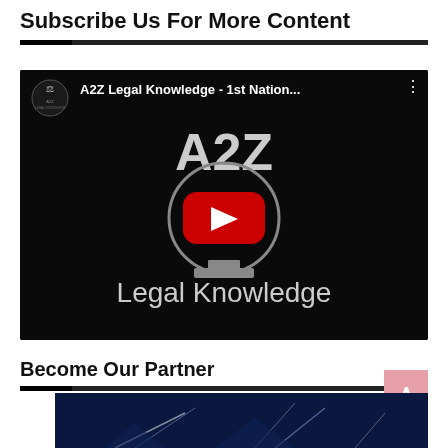Subscribe Us For More Content
[Figure (screenshot): YouTube video thumbnail for 'A2Z Legal Knowledge - 1st Nation...' showing the A2Z Legal Knowledge logo with a YouTube play button on a black background. Channel icon with scales of justice on the left, three-dot menu on the right.]
Become Our Partner
[Figure (screenshot): Partial image at bottom of page showing a dark blue scene with light streaks, partially visible.]